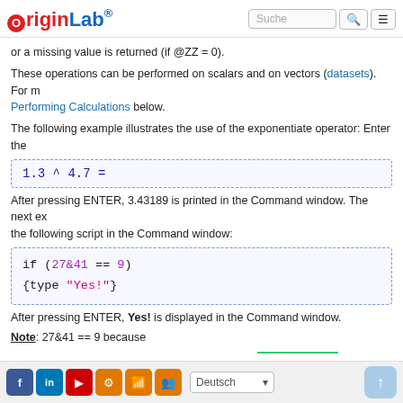OriginLab [logo] Suche [search] [menu]
or a missing value is returned (if @ZZ = 0).
These operations can be performed on scalars and on vectors (datasets). For m... Performing Calculations below.
The following example illustrates the use of the exponentiate operator: Enter the
After pressing ENTER, 3.43189 is printed in the Command window. The next ex... the following script in the Command window:
After pressing ENTER, Yes! is displayed in the Command window.
Note: 27&41 == 9 because
Social icons | Deutsch | up button